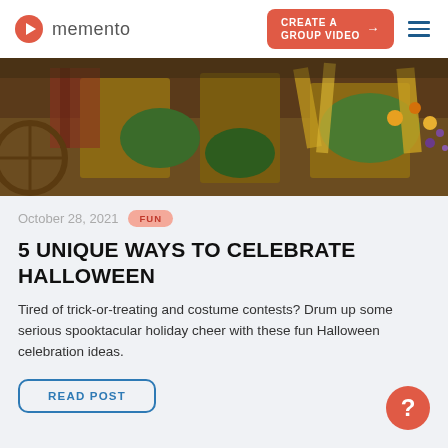memento — CREATE A GROUP VIDEO
[Figure (photo): Autumn harvest decorations with burlap, wildflowers, straw, and colorful blooms arranged outdoors]
October 28, 2021   FUN
5 UNIQUE WAYS TO CELEBRATE HALLOWEEN
Tired of trick-or-treating and costume contests? Drum up some serious spooktacular holiday cheer with these fun Halloween celebration ideas.
READ POST